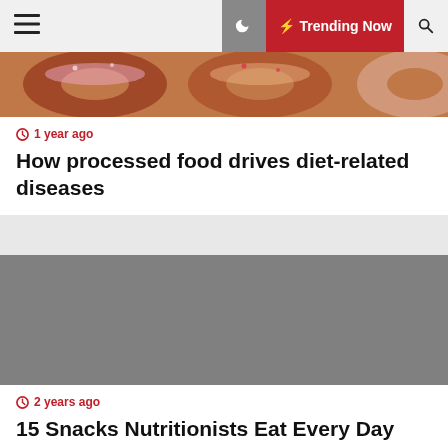Trending Now
[Figure (photo): Close-up photo of donuts/pastries with glazed and sugary toppings]
1 year ago
How processed food drives diet-related diseases
[Figure (photo): Gray placeholder image for article about snacks]
2 years ago
15 Snacks Nutritionists Eat Every Day